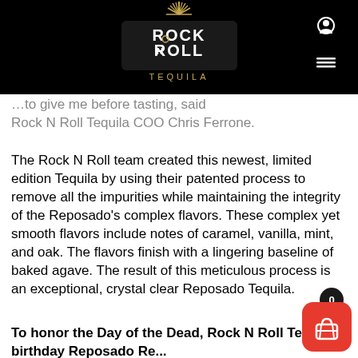[Figure (logo): Rock N Roll Tequila logo with agave plant graphic on black background]
…to give me before tasting, said Rock N Roll Tequila COO Chris Ferrone.
The Rock N Roll team created this newest, limited edition Tequila by using their patented process to remove all the impurities while maintaining the integrity of the Reposado's complex flavors. These complex yet smooth flavors include notes of caramel, vanilla, mint, and oak. The flavors finish with a lingering baseline of baked agave. The result of this meticulous process is an exceptional, crystal clear Reposado Tequila.
To honor the Day of the Dead, Rock N Roll Tequila's birthday Reposado Re...